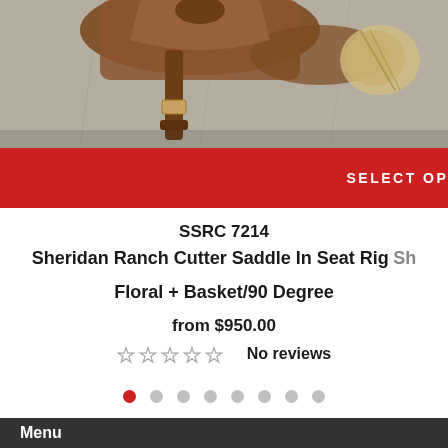[Figure (photo): Partial product photo of a western saddle (Sheridan Ranch Cutter Saddle) on a stone/concrete surface, brown leather with decorative tooling, partially cropped]
SELECT OPTIONS >
SSRC 7214
Sheridan Ranch Cutter Saddle In Seat Rig
Floral + Basket/90 Degree
from $950.00
☆☆☆☆☆ No reviews
Menu
Shipping Policy
Privacy Policy
Terms and Conditions